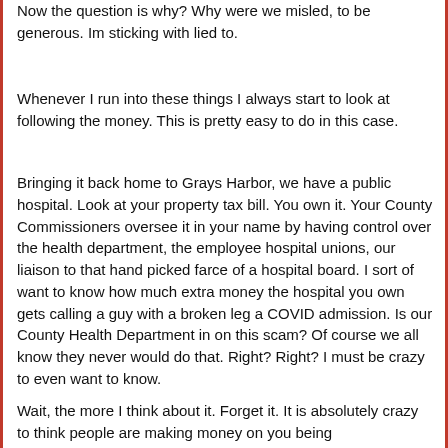Now the question is why? Why were we misled, to be generous. Im sticking with lied to.
Whenever I run into these things I always start to look at following the money. This is pretty easy to do in this case.
Bringing it back home to Grays Harbor, we have a public hospital. Look at your property tax bill. You own it. Your County Commissioners oversee it in your name by having control over the health department, the employee hospital unions, our liaison to that hand picked farce of a hospital board. I sort of want to know how much extra money the hospital you own gets calling a guy with a broken leg a COVID admission. Is our County Health Department in on this scam? Of course we all know they never would do that. Right? Right? I must be crazy to even want to know.
Wait, the more I think about it. Forget it. It is absolutely crazy to think people are making money on you being